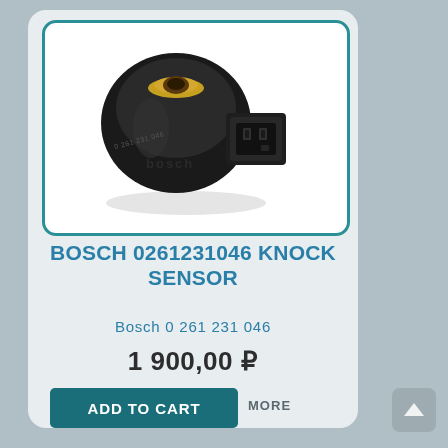[Figure (photo): Bosch 0261231046 knock sensor — black cylindrical sensor body with gold-colored mounting ring on top and rectangular electrical connector on the side with two pins]
BOSCH 0261231046 KNOCK SENSOR
Bosch 0 261 231 046
1 900,00 ₽
ADD TO CART
MORE